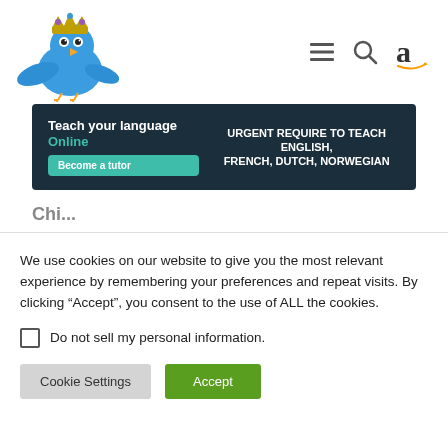[Figure (logo): Blue cartoon bird mascot wearing a jeweled crown, with wings spread, above a website navigation bar with hamburger menu, search icon, and Amazon 'a' logo icon]
[Figure (infographic): Dark teal/navy ad banner: 'Teach your language Online' with teal 'Become a tutor' button and white bold text 'URGENT REQUIRE TO TEACH ENGLISH, FRENCH, DUTCH, NORWEGIAN']
We use cookies on our website to give you the most relevant experience by remembering your preferences and repeat visits. By clicking “Accept”, you consent to the use of ALL the cookies.
Do not sell my personal information.
Cookie Settings
Accept